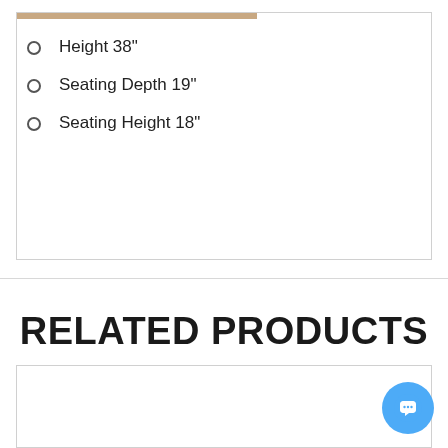Height 38"
Seating Depth 19"
Seating Height 18"
RELATED PRODUCTS
[Figure (other): Product card placeholder (white box with border)]